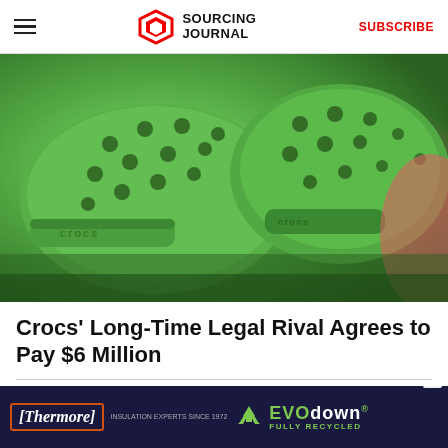SOURCING JOURNAL | SUBSCRIBE
[Figure (photo): Close-up photo of green Crocs shoes with characteristic holes and 'Crocs' branding on the strap, with a pinkish-red Crocs shoe partially visible in the background.]
Crocs' Long-Time Legal Rival Agrees to Pay $6 Million
PMC
MOST POPULAR
[Figure (infographic): Advertisement banner: Thermore - Insulation Experts Since 1972, EVO down, FULLY RECYCLED, with recycling icon.]